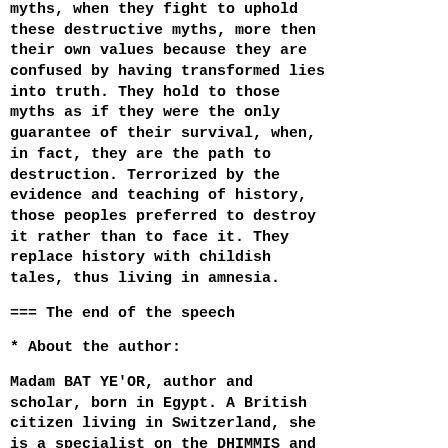myths, when they fight to uphold these destructive myths, more then their own values because they are confused by having transformed lies into truth. They hold to those myths as if they were the only guarantee of their survival, when, in fact, they are the path to destruction. Terrorized by the evidence and teaching of history, those peoples preferred to destroy it rather than to face it. They replace history with childish tales, thus living in amnesia.
=== The end of the speech
* About the author:
Madam BAT YE'OR, author and scholar, born in Egypt. A British citizen living in Switzerland, she is a specialist on the DHIMMIS and "DHIMMITUDE" (a new word which she